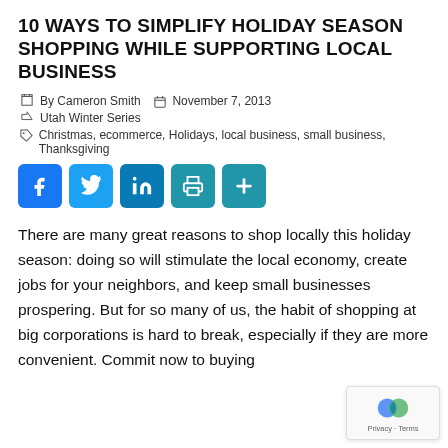10 WAYS TO SIMPLIFY HOLIDAY SEASON SHOPPING WHILE SUPPORTING LOCAL BUSINESS
By Cameron Smith   November 7, 2013
Utah Winter Series
Christmas, ecommerce, Holidays, local business, small business, Thanksgiving
[Figure (infographic): Social sharing buttons: Facebook, Twitter, LinkedIn, Print, More]
There are many great reasons to shop locally this holiday season: doing so will stimulate the local economy, create jobs for your neighbors, and keep small businesses prospering. But for so many of us, the habit of shopping at big corporations is hard to break, especially if they are more convenient. Commit now to buying